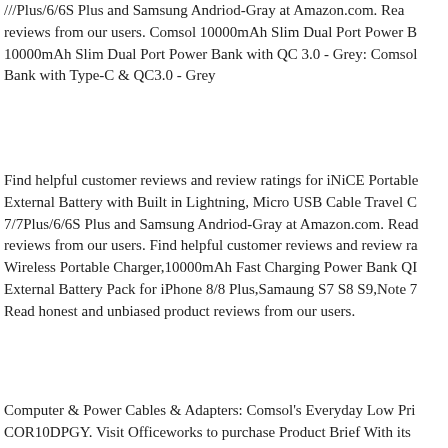///Plus/6/6S Plus and Samsung Andriod-Gray at Amazon.com. Read reviews from our users. Comsol 10000mAh Slim Dual Port Power Bank 10000mAh Slim Dual Port Power Bank with QC 3.0 - Grey: Comsol Bank with Type-C & QC3.0 - Grey
Find helpful customer reviews and review ratings for iNiCE Portable External Battery with Built in Lightning, Micro USB Cable Travel Charger 7/7Plus/6/6S Plus and Samsung Andriod-Gray at Amazon.com. Read reviews from our users. Find helpful customer reviews and review ratings for Wireless Portable Charger,10000mAh Fast Charging Power Bank QI External Battery Pack for iPhone 8/8 Plus,Samaung S7 S8 S9,Note 7 Read honest and unbiased product reviews from our users.
Computer & Power Cables & Adapters: Comsol's Everyday Low Price COR10DPGY. Visit Officeworks to purchase Product Brief With its rugged casing, IP67 rated water & dust resistance, LED torch and a large 10000mAh this power bank is your perfect outdoor companion. With dual USB ports and Power Chip, this potable вЂ¦ This Comsol Powerbank has a rugged casing and dirt resistant, water resistant and IP67 rated making it ideal for use utilises a dual port interface so you can charge 2 devices simultaneously